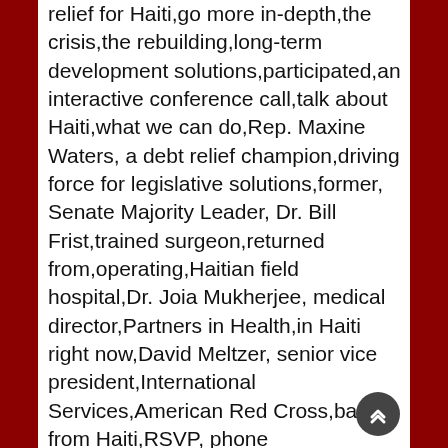relief for Haiti,go more in-depth,the crisis,the rebuilding,long-term development solutions,participated,an interactive conference call,talk about Haiti,what we can do,Rep. Maxine Waters, a debt relief champion,driving force for legislative solutions,former, Senate Majority Leader, Dr. Bill Frist,trained surgeon,returned from,operating,Haitian field hospital,Dr. Joia Mukherjee, medical director,Partners in Health,in Haiti right now,David Meltzer, senior vice president,International Services,American Red Cross,back from Haiti,RSVP, phone number,ONE,members,Maxine Waters, former Senate Majority Leader,Bill Frist,President,David Lane,interactive,conference call,on Haiti Crisis,Rebuilding,Debt Cancellation,massive response,Drop Haiti's Debt,campaign,having an impact, movement,IMF,World Bank,find ways,cancel Haiti's debts,the House of Representatives,Senate,tackle this issue,promising,keep the pressure up,learn more,about,how we can help,the Haitian people,during this, time of crisis,and beyond,experts,observers,shared their responses the aftermath earthquake took